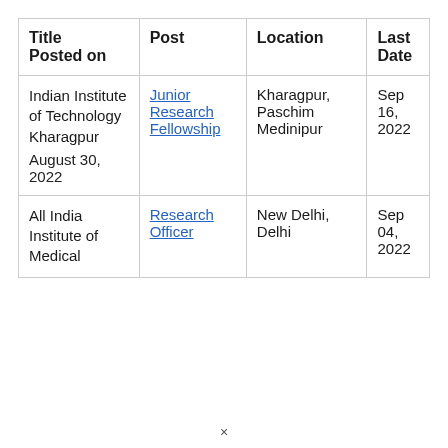| Title
Posted on | Post | Location | Last Date |
| --- | --- | --- | --- |
| Indian Institute of Technology Kharagpur
August 30, 2022 | Junior Research Fellowship | Kharagpur, Paschim Medinipur | Sep 16, 2022 |
| All India Institute of Medical ... | Research Officer | New Delhi, Delhi | Sep 04, 2022 |